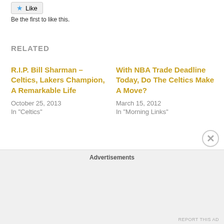[Figure (other): Facebook Like button]
Be the first to like this.
RELATED
R.I.P. Bill Sharman – Celtics, Lakers Champion, A Remarkable Life
October 25, 2013
In "Celtics"
With NBA Trade Deadline Today, Do The Celtics Make A Move?
March 15, 2012
In "Morning Links"
Celtics Crushed In Philly, Sheppard on WEEI Return
March 8, 2012
In "Morning Links"
Advertisements